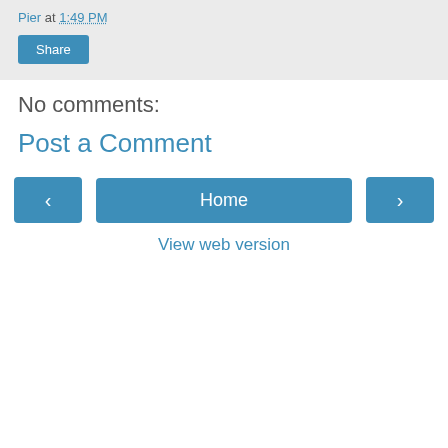Pier at 1:49 PM
Share
No comments:
Post a Comment
‹
Home
›
View web version